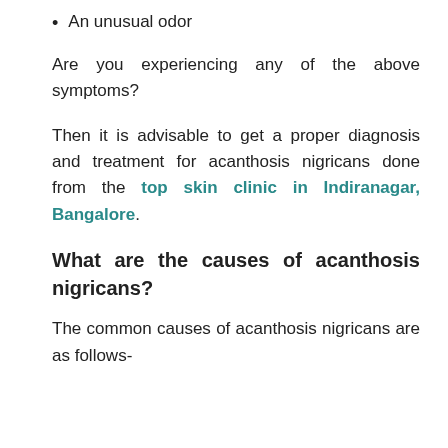An unusual odor
Are you experiencing any of the above symptoms?
Then it is advisable to get a proper diagnosis and treatment for acanthosis nigricans done from the top skin clinic in Indiranagar, Bangalore.
What are the causes of acanthosis nigricans?
The common causes of acanthosis nigricans are as follows-